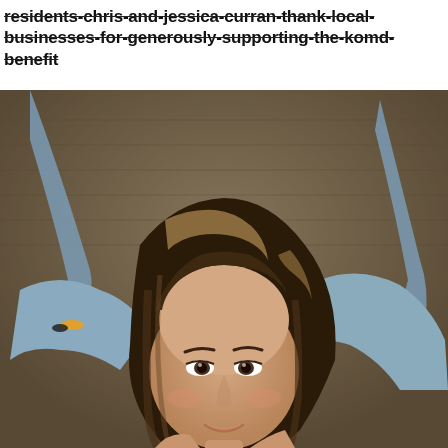residents-chris-and-jessica-curran-thank-local-businesses-for-generously-supporting-the-komd-benefit
[Figure (photo): A woman with highlighted brown wavy hair looks upward with an expressive face. Behind her, a man in a grey t-shirt raises both arms wide. Background is a blurred brick wall.]